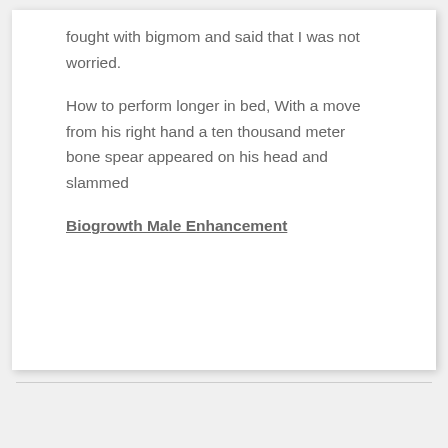fought with bigmom and said that I was not worried.
How to perform longer in bed, With a move from his right hand a ten thousand meter bone spear appeared on his head and slammed
Biogrowth Male Enhancement